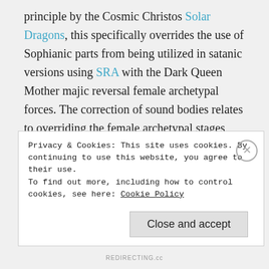principle by the Cosmic Christos Solar Dragons, this specifically overrides the use of Sophianic parts from being utilized in satanic versions using SRA with the Dark Queen Mother majic reversal female archetypal forces. The correction of sound bodies relates to overriding the female archetypal stages used in satanic rituals which hijack the female consciousness and require the Queen Mother to oversee blood sacrifices of children, and the ritualistic roles of virgin maiden to crone. [1]
Privacy & Cookies: This site uses cookies. By continuing to use this website, you agree to their use.
To find out more, including how to control cookies, see here: Cookie Policy
Close and accept